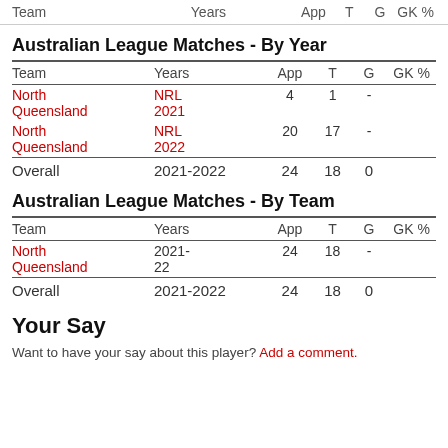Team   Years   App   T   G   GK %
Australian League Matches - By Year
| Team | Years | App | T | G | GK % |
| --- | --- | --- | --- | --- | --- |
| North Queensland | NRL 2021 | 4 | 1 | - |  |
| North Queensland | NRL 2022 | 20 | 17 | - |  |
| Overall | 2021-2022 | 24 | 18 | 0 |  |
Australian League Matches - By Team
| Team | Years | App | T | G | GK % |
| --- | --- | --- | --- | --- | --- |
| North Queensland | 2021-22 | 24 | 18 | - |  |
| Overall | 2021-2022 | 24 | 18 | 0 |  |
Your Say
Want to have your say about this player? Add a comment.